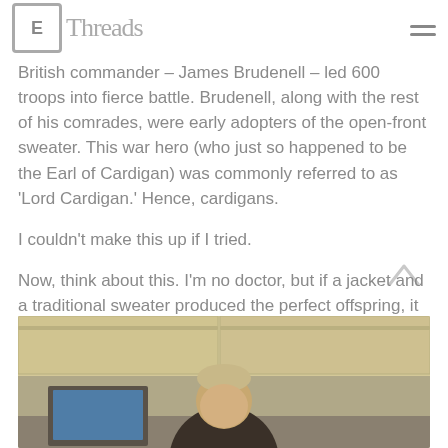E Threads (logo with script text)
British commander – James Brudenell – led 600 troops into fierce battle. Brudenell, along with the rest of his comrades, were early adopters of the open-front sweater. This war hero (who just so happened to be the Earl of Cardigan) was commonly referred to as 'Lord Cardigan.' Hence, cardigans.
I couldn't make this up if I tried.
Now, think about this. I'm no doctor, but if a jacket and a traditional sweater produced the perfect offspring, it would be a cardigan.
Backed by science and history, I'm happy to defend my favorite over piece – the cardigan.
[Figure (photo): A man sitting at a desk in an office setting with cabinets in the background, visible from shoulders up]